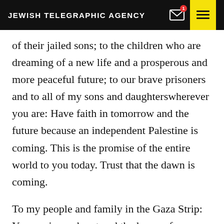JEWISH TELEGRAPHIC AGENCY
of their jailed sons; to the children who are dreaming of a new life and a prosperous and more peaceful future; to our brave prisoners and to all of my sons and daughterswherever you are: Have faith in tomorrow and the future because an independent Palestine is coming. This is the promise of the entire world to you today. Trust that the dawn is coming.
To my people and family in the Gaza Strip: You are in my heart and the hours of darkness will vanish before your determination does and ourdetermination to the unity of our people in the West Bank and Gaza as a